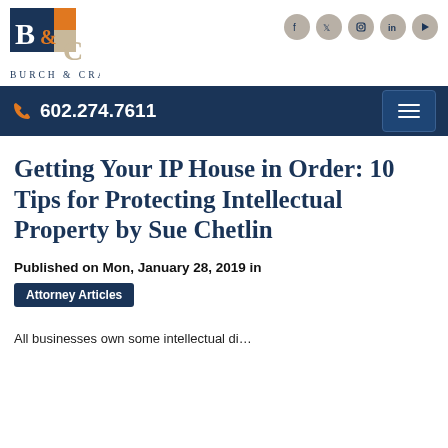[Figure (logo): Burch & Cracchiolo law firm logo with stylized B&C letters in navy blue, orange, and beige, followed by firm name 'BURCH & CRACCHIOLO' in navy spaced caps]
[Figure (infographic): Social media icons (Facebook, Twitter, Instagram, LinkedIn, YouTube) as circular beige/grey buttons in the top right]
602.274.7611
Getting Your IP House in Order: 10 Tips for Protecting Intellectual Property by Sue Chetlin
Published on Mon, January 28, 2019 in
Attorney Articles
All businesses own some intellectual di...